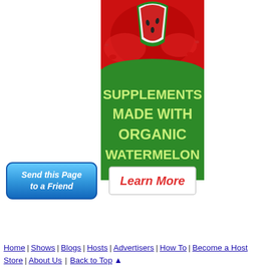[Figure (illustration): Advertisement banner for supplements made with organic watermelon. Top portion shows a watermelon with red juice splash on red background. Green lower portion has text 'SUPPLEMENTS MADE WITH ORGANIC WATERMELON' in yellow-green bold uppercase letters, and a white 'Learn More' button with red italic text.]
[Figure (illustration): Blue gradient button with white italic bold text reading 'Send this Page to a Friend']
Home | Shows | Blogs | Hosts | Advertisers | How To | Become a Host | Store | About Us | Back to Top ▲